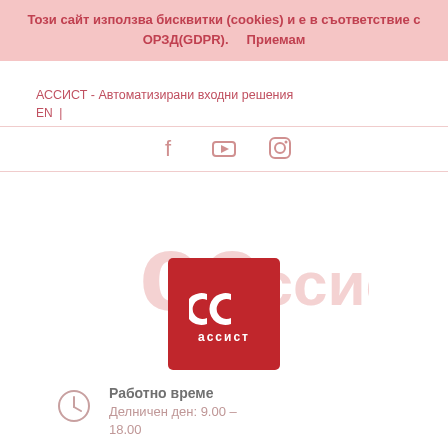Този сайт използва бисквитки (cookies) и е в съответствие с ОРЗД(GDPR).  Приемам
АССИСТ - Автоматизирани входни решения
EN  |
[Figure (logo): Social media icons: Facebook, YouTube, Instagram]
[Figure (logo): АССИСТ watermark logo in light pink]
[Figure (logo): АССИСТ red square logo with CC symbol and text АССИСТ]
Работно време
Делничен ден: 9.00 – 18.00
Пишете ни
sales@assist.bg
Обадете се